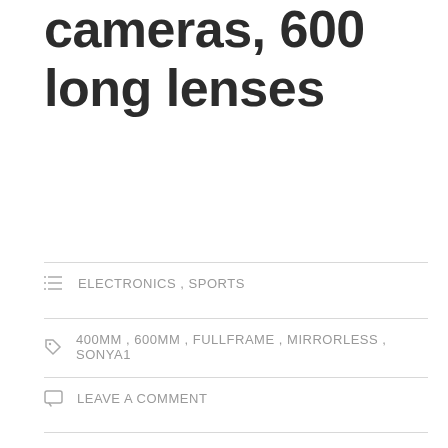cameras, 600 long lenses
ELECTRONICS , SPORTS
400MM , 600MM , FULLFRAME , MIRRORLESS , SONYA1
LEAVE A COMMENT
The 24th Winter Olympic Games started in Beijing recently. Sony provided an “arsenal of camera equipment” with 250 professional cameras and 600 long lenses for this year’s Winter Games, the second